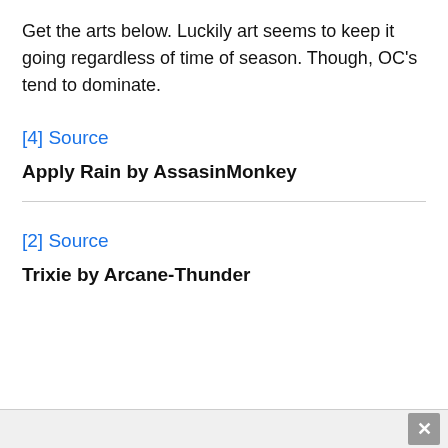Get the arts below. Luckily art seems to keep it going regardless of time of season. Though, OC's tend to dominate.
[4] Source
Apply Rain by AssasinMonkey
[2] Source
Trixie by Arcane-Thunder
✕